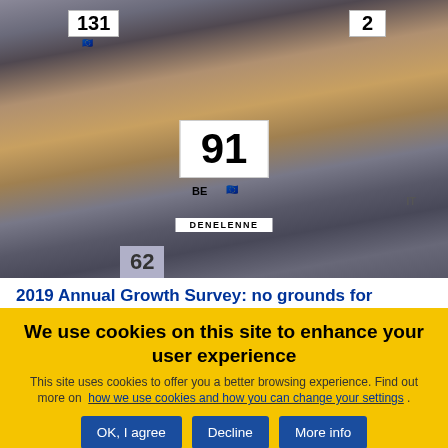[Figure (photo): Photo of a European Parliament session showing members seated, with seat number signs visible including 131, 2, 91, and 62. A woman in a mustard/gold jacket is speaking. A nameplate reads DENELENNE with seat number 91 and BE flag visible.]
2019 Annual Growth Survey: no grounds for
We use cookies on this site to enhance your user experience
This site uses cookies to offer you a better browsing experience. Find out more on how we use cookies and how you can change your settings .